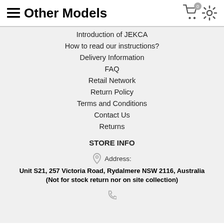Other Models
Introduction of JEKCA
How to read our instructions?
Delivery Information
FAQ
Retail Network
Return Policy
Terms and Conditions
Contact Us
Returns
STORE INFO
Address: Unit S21, 257 Victoria Road, Rydalmere NSW 2116, Australia (Not for stock return nor on site collection)